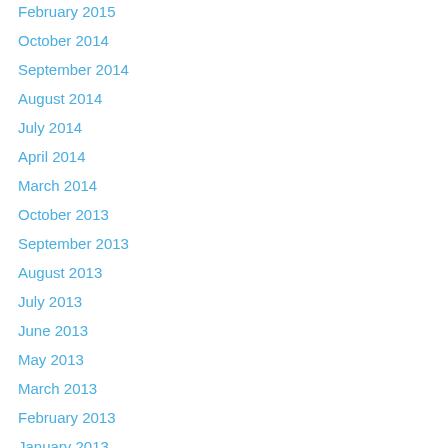February 2015
October 2014
September 2014
August 2014
July 2014
April 2014
March 2014
October 2013
September 2013
August 2013
July 2013
June 2013
May 2013
March 2013
February 2013
January 2013
November 2012
October 2012
September 2012
August 2012